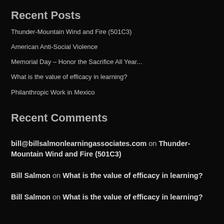Recent Posts
Thunder-Mountain Wind and Fire (501C3)
American Anti-Social Violence
Memorial Day – Honor the Sacrifice All Year...
What is the value of efficacy in learning?
Philanthropic Work in Mexico
Recent Comments
bill@billsalmonlearningassociates.com on Thunder-Mountain Wind and Fire (501C3)
Bill Salmon on What is the value of efficacy in learning?
Bill Salmon on What is the value of efficacy in learning?